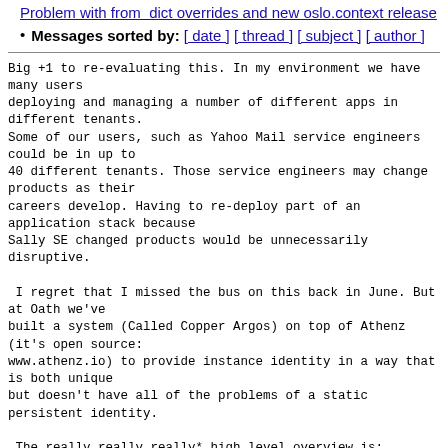Problem with from  dict overrides and new oslo.context release
Messages sorted by: [ date ] [ thread ] [ subject ] [ author ]
Big +1 to re-evaluating this. In my environment we have many users
deploying and managing a number of different apps in different tenants.
Some of our users, such as Yahoo Mail service engineers could be in up to
40 different tenants. Those service engineers may change products as their
careers develop. Having to re-deploy part of an application stack because
Sally SE changed products would be unnecessarily disruptive.

 I regret that I missed the bus on this back in June. But at Oath we've
built a system (Called Copper Argos) on top of Athenz (it's open source:
www.athenz.io) to provide instance identity in a way that is both unique
but doesn't have all of the problems of a static persistent identity.

 The really really really* high level overview is:
1. Users pass application identity data to Nova as